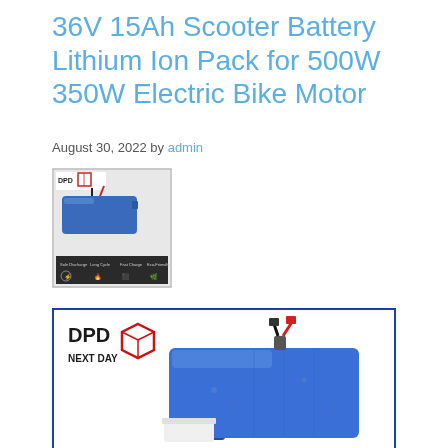36V 15Ah Scooter Battery Lithium Ion Pack for 500W 350W Electric Bike Motor
August 30, 2022 by admin
[Figure (photo): Thumbnail image of a blue 36V 15Ah lithium ion battery pack with DPD Next Day logo]
[Figure (photo): Large product photo of a blue 36V 15Ah lithium ion scooter battery pack with DPD Next Day logo and connector cables visible at top]